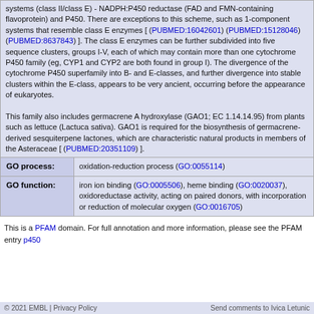systems (class II/class E) - NADPH:P450 reductase (FAD and FMN-containing flavoprotein) and P450. There are exceptions to this scheme, such as 1-component systems that resemble class E enzymes [ (PUBMED:16042601) (PUBMED:15128046) (PUBMED:8637843) ]. The class E enzymes can be further subdivided into five sequence clusters, groups I-V, each of which may contain more than one cytochrome P450 family (eg, CYP1 and CYP2 are both found in group I). The divergence of the cytochrome P450 superfamily into B- and E-classes, and further divergence into stable clusters within the E-class, appears to be very ancient, occurring before the appearance of eukaryotes.

This family also includes germacrene A hydroxylase (GAO1; EC 1.14.14.95) from plants such as lettuce (Lactuca sativa). GAO1 is required for the biosynthesis of germacrene-derived sesquiterpene lactones, which are characteristic natural products in members of the Asteraceae [ (PUBMED:20351109) ].
| GO process: | value |
| --- | --- |
| GO process: | oxidation-reduction process (GO:0055114) |
| GO function: | iron ion binding (GO:0005506), heme binding (GO:0020037), oxidoreductase activity, acting on paired donors, with incorporation or reduction of molecular oxygen (GO:0016705) |
This is a PFAM domain. For full annotation and more information, please see the PFAM entry p450
© 2021 EMBL | Privacy Policy    Send comments to Ivica Letunic